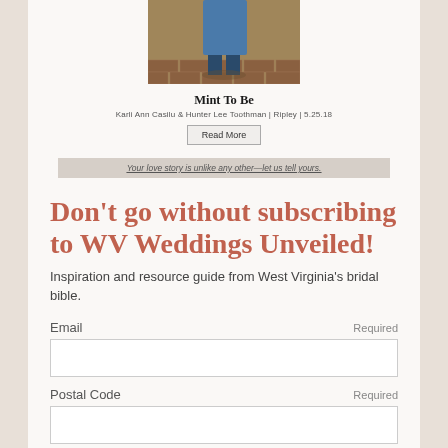[Figure (photo): Partial view of a person in blue sitting near a brick wall, cropped at top of page]
Mint To Be
Karli Ann Casilu & Hunter Lee Toothman | Ripley | 5.25.18
Read More
Your love story is unlike any other—let us tell yours.
Don't go without subscribing to WV Weddings Unveiled!
Inspiration and resource guide from West Virginia's bridal bible.
Email
Required
Postal Code
Required